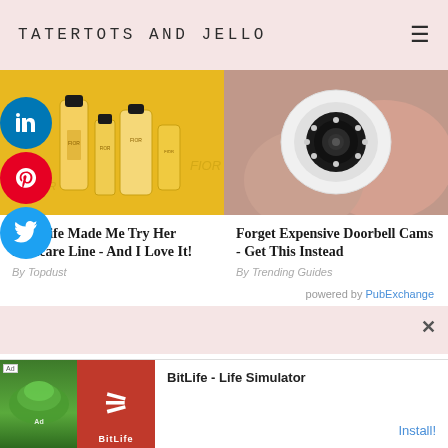TATERTOTS AND JELLO
[Figure (photo): Skincare products (FIOR brand bottles and tubes) on yellow background]
[Figure (photo): Hand holding a white security/doorbell camera with LED ring]
My Wife Made Me Try Her Skincare Line - And I Love It!
By Topdust
Forget Expensive Doorbell Cams - Get This Instead
By Trending Guides
powered by PubExchange
[Figure (screenshot): BitLife - Life Simulator app advertisement banner at bottom of page]